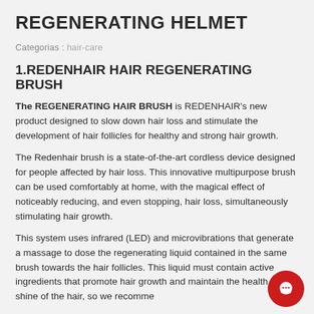REGENERATING HELMET
Categorias : hair-care
1.REDENHAIR HAIR REGENERATING BRUSH
The REGENERATING HAIR BRUSH is REDENHAIR's new product designed to slow down hair loss and stimulate the development of hair follicles for healthy and strong hair growth.
The Redenhair brush is a state-of-the-art cordless device designed for people affected by hair loss. This innovative multipurpose brush can be used comfortably at home, with the magical effect of noticeably reducing, and even stopping, hair loss, simultaneously stimulating hair growth.
This system uses infrared (LED) and microvibrations that generate a massage to dose the regenerating liquid contained in the same brush towards the hair follicles. This liquid must contain active ingredients that promote hair growth and maintain the health and shine of the hair, so we recomme...